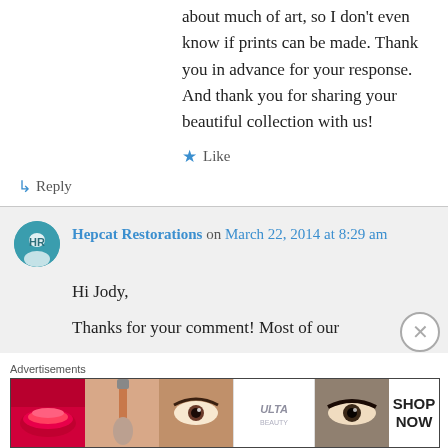about much of art, so I don't even know if prints can be made. Thank you in advance for your response. And thank you for sharing your beautiful collection with us!
★ Like
↳ Reply
Hepcat Restorations on March 22, 2014 at 8:29 am
Hi Jody,
Thanks for your comment! Most of our
[Figure (screenshot): Advertisement banner showing ULTA beauty cosmetics ad with makeup images and 'SHOP NOW' text]
Advertisements